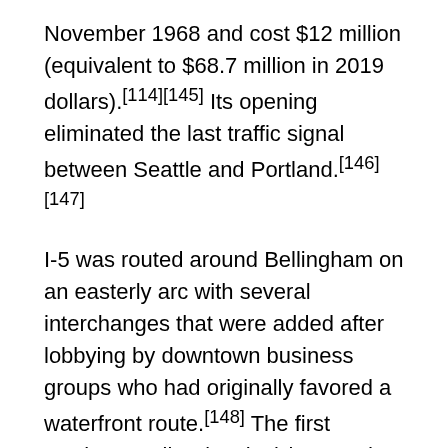November 1968 and cost $12 million (equivalent to $68.7 million in 2019 dollars).[114][145] Its opening eliminated the last traffic signal between Seattle and Portland.[146][147]
I-5 was routed around Bellingham on an easterly arc with several interchanges that were added after lobbying by downtown business groups who had originally favored a waterfront route.[148] The first section, 5 miles (8.0 km) long and four lanes wide, opened to traffic on December 5, 1960, connecting with an existing expressway to Ferndale.[149] The remainder of I-5 from Ferndale to the Peace Arch border crossing was upgraded in two stages, beginning with 11 miles (18 km) to Dakota Creek near Blaine that opened on October [150]